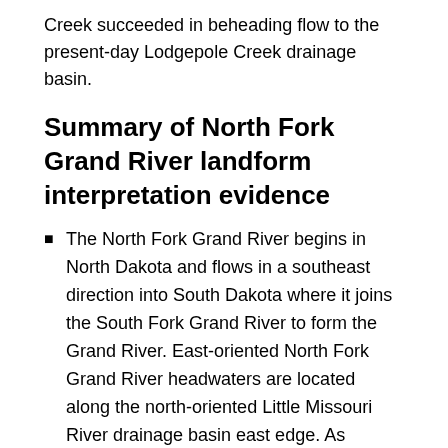Creek succeeded in beheading flow to the present-day Lodgepole Creek drainage basin.
Summary of North Fork Grand River landform interpretation evidence
The North Fork Grand River begins in North Dakota and flows in a southeast direction into South Dakota where it joins the South Fork Grand River to form the Grand River. East-oriented North Fork Grand River headwaters are located along the north-oriented Little Missouri River drainage basin east edge. As demonstrated in the Little Missouri-North Fork Grand River drainage divide area essay multiple northwest to southeast oriented through valleys link southeast-oriented North Fork Grand River headwaters with